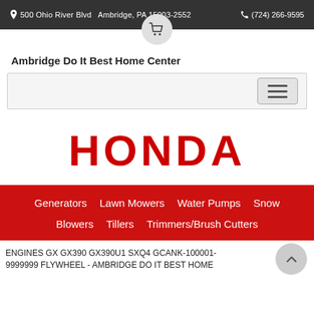500 Ohio River Blvd   Ambridge, PA 15003-2552     (724) 266-9595
Ambridge Do It Best Home Center
[Figure (screenshot): Navigation bar with hamburger menu icon on right]
[Figure (logo): Honda logo in red bold text]
Generators   Lawn Mowers   Water Pumps   Snow Blowers   Tillers   Trimmers/Brush Cutters
ENGINES GX GX390 GX390U1 SXQ4 GCANK-100001-9999999 FLYWHEEL - AMBRIDGE DO IT BEST HOME